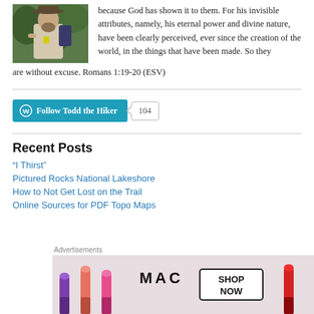[Figure (photo): Photo of a man with a beard wearing a hat and backpack, outdoors among trees. A small yellow icon is visible on his shirt.]
because God has shown it to them. For his invisible attributes, namely, his eternal power and divine nature, have been clearly perceived, ever since the creation of the world, in the things that have been made. So they are without excuse. Romans 1:19-20 (ESV)
[Figure (infographic): WordPress Follow button labeled 'Follow Todd the Hiker' with a follower count badge showing 104.]
Recent Posts
“I Thirst”
Pictured Rocks National Lakeshore
How to Not Get Lost on the Trail
Online Sources for PDF Topo Maps
[Figure (advertisement): MAC cosmetics advertisement showing lipsticks in various colors with text 'MAC' and 'SHOP NOW' button. Labeled 'Advertisements' at top. Close (X) button visible at right.]